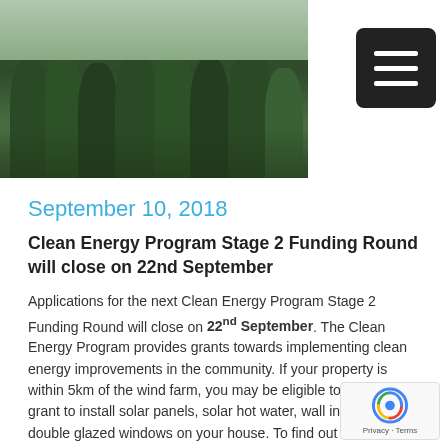[Figure (photo): Group photo of a rugby team in green jerseys, cropped at the top of the page]
September 10, 2018
Clean Energy Program Stage 2 Funding Round will close on 22nd September
Applications for the next Clean Energy Program Stage 2 Funding Round will close on 22nd September. The Clean Energy Program provides grants towards implementing clean energy improvements in the community. If your property is within 5km of the wind farm, you may be eligible to apply for a grant to install solar panels, solar hot water, wall insulation or double glazed windows on your house. To find out more, click here or contact us.
September 10, 2018
Goldwind is seeking a Service Technician at Gullen Range